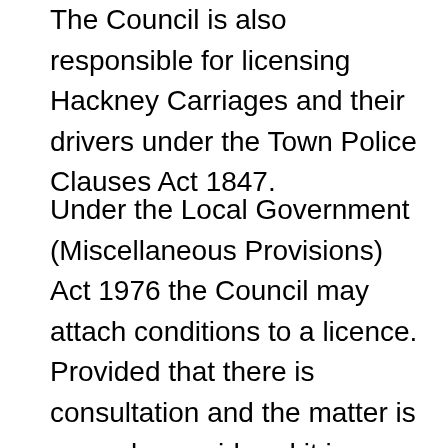The Council is also responsible for licensing Hackney Carriages and their drivers under the Town Police Clauses Act 1847.
Under the Local Government (Miscellaneous Provisions) Act 1976 the Council may attach conditions to a licence. Provided that there is consultation and the matter is properly considered it is permissible for the local authority to decide as a matter of policy what general conditions are to be attached to a licence. However the local authority still has a discretion to add additional conditions to a licence in individual cases.
The general conditions were last reviewed in 2005, the previous conditions have been in place for a